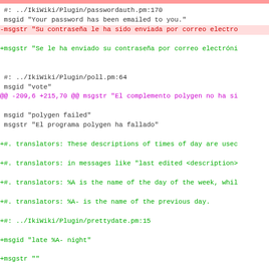diff/patch code view showing changes to IkiWiki plugin translation files
#: ../IkiWiki/Plugin/passwordauth.pm:170
 msgid "Your password has been emailed to you."
-msgstr "Su contraseña le ha sido enviada por correo electro
+msgstr "Se le ha enviado su contraseña por correo electróni

 #: ../IkiWiki/Plugin/poll.pm:64
 msgid "vote"
@@ -209,6 +215,70 @@ msgstr "El complemento polygen no ha si
 msgid "polygen failed"
 msgstr "El programa polygen ha fallado"

+#. translators: These descriptions of times of day are usec
+#. translators: in messages like "last edited <description>
+#. translators: %A is the name of the day of the week, whil
+#. translators: %A- is the name of the previous day.
+#: ../IkiWiki/Plugin/prettydate.pm:15
+msgid "late %A- night"
+msgstr ""
+
+#: ../IkiWiki/Plugin/prettydate.pm:17
+msgid "in the wee hours of %A- night"
+msgstr ""
+
+#: ../IkiWiki/Plugin/prettydate.pm:20
+msgid "terribly early %A morning"
+msgstr ""
+
+#: ../IkiWiki/Plugin/prettydate.pm:22
+msgid "early %A morning"
+msgstr ""
+